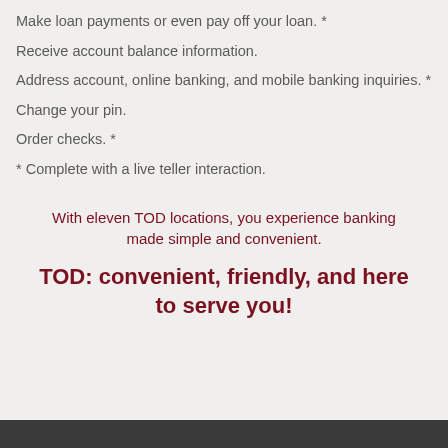Make loan payments or even pay off your loan. *
Receive account balance information.
Address account, online banking, and mobile banking inquiries. *
Change your pin.
Order checks. *
* Complete with a live teller interaction.
With eleven TOD locations, you experience banking made simple and convenient.
TOD: convenient, friendly, and here to serve you!